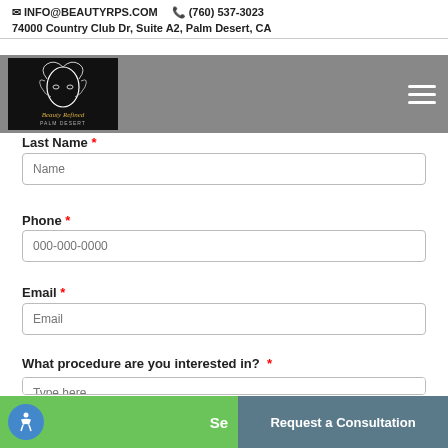INFO@BEAUTYRPS.COM  (760) 537-3023
74000 Country Club Dr, Suite A2, Palm Desert, CA
[Figure (logo): Beauty Refined logo on dark background with illustrated face/hair imagery]
Last Name *
Phone *
000-000-0000
Email *
What procedure are you interested in? *
Type here ...
Se
Request a Consultation